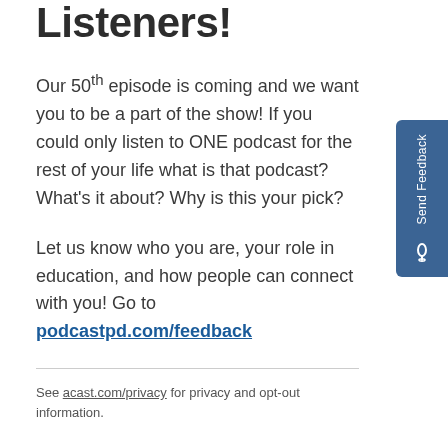Listeners!
Our 50th episode is coming and we want you to be a part of the show! If you could only listen to ONE podcast for the rest of your life what is that podcast? What's it about? Why is this your pick?
Let us know who you are, your role in education, and how people can connect with you! Go to podcastpd.com/feedback
See acast.com/privacy for privacy and opt-out information.
ASK QUESTIONS, SHARE FEEDBACK, AND CONNECT